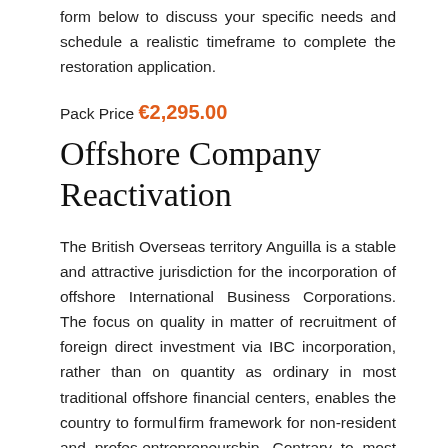form below to discuss your specific needs and schedule a realistic timeframe to complete the restoration application.
Pack Price €2,295.00
Offshore Company Reactivation
The British Overseas territory Anguilla is a stable and attractive jurisdiction for the incorporation of offshore International Business Corporations. The focus on quality in matter of recruitment of foreign direct investment via IBC incorporation, rather than on quantity as ordinary in most traditional offshore financial centers, enables the country to formulate a firm framework for non-resident and professional entrepreneurship. Contrary to most offshore financial...